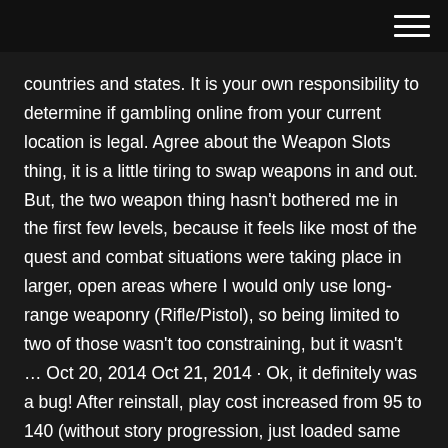countries and states. It is your own responsibility to determine if gambling online from your current location is legal. Agree about the Weapon Slots thing, it is a little tiring to swap weapons in and out. But, the two weapon thing hasn't bothered me in the first few levels, because it feels like most of the quest and combat situations were taking place in larger, open areas where I would only use long-range weaponry (Rifle/Pistol), so being limited to two of those wasn't too constraining, but it wasn't … Oct 20, 2014 Oct 21, 2014 · Ok, it definitely was a bug! After reinstall, play cost increased from 95 to 140 (without story progression, just loaded same save after reinstall) and i got single moonstone in 5 try, and then double moonstone in 12 tries. ***THIS IS FOR EDUCATIONAL PURPOSES ONLY***